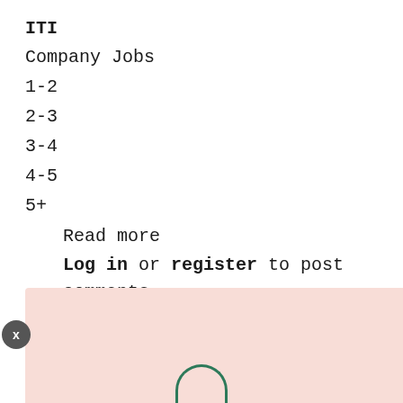ITI
Company Jobs
1-2
2-3
3-4
4-5
5+
Read more
Log in or register to post comments
Multiple Openings for M.Pharm, B.Pharm, M.Sc at Pinnacle Life Science | Walk in
[Figure (other): Advertisement banner with pinkish/salmon background color and a partially visible circular green icon at bottom center. An X close button appears at the lower left.]